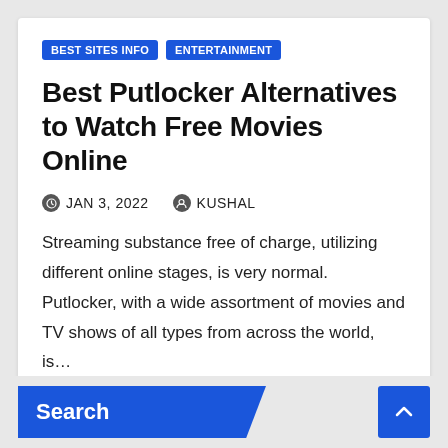BEST SITES INFO | ENTERTAINMENT
Best Putlocker Alternatives to Watch Free Movies Online
JAN 3, 2022  KUSHAL
Streaming substance free of charge, utilizing different online stages, is very normal. Putlocker, with a wide assortment of movies and TV shows of all types from across the world, is…
Search